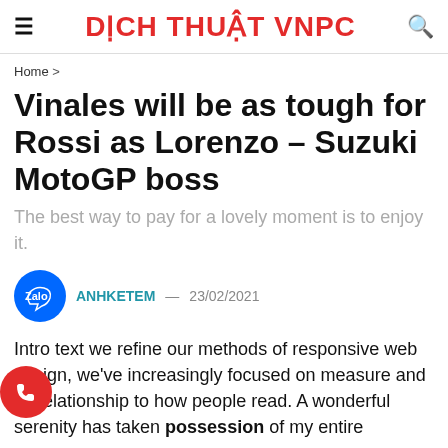≡  DỊCH THUẬT VNPC  🔍
Home >
Vinales will be as tough for Rossi as Lorenzo – Suzuki MotoGP boss
The best way to pay for a lovely moment is to enjoy it.
ANHKETEM — 23/02/2021
Intro text we refine our methods of responsive web design, we've increasingly focused on measure and its relationship to how people read. A wonderful serenity has taken possession of my entire